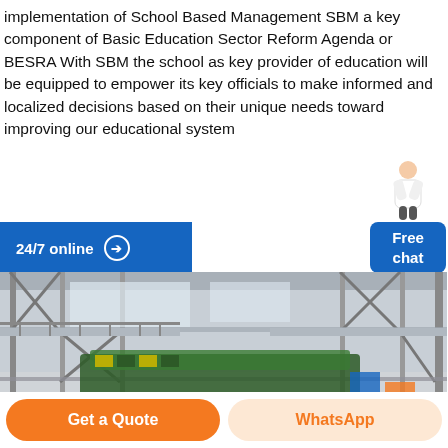implementation of School Based Management SBM a key component of Basic Education Sector Reform Agenda or BESRA With SBM the school as key provider of education will be equipped to empower its key officials to make informed and localized decisions based on their unique needs toward improving our educational system
[Figure (illustration): Chat widget with a person figure and blue 'Free chat' button]
[Figure (photo): Industrial warehouse or factory interior with steel scaffolding, machinery, and manufacturing equipment]
24/7 online →
Get a Quote
WhatsApp